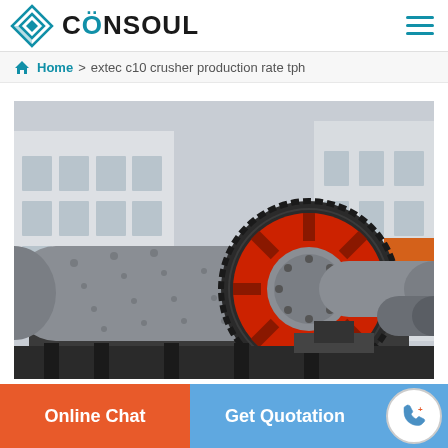CÖNSOUL
Home > extec c10 crusher production rate tph
[Figure (photo): Industrial ball mill equipment with large red gear ring and grey cylindrical drum, photographed outdoors at a manufacturing facility]
Online Chat
Get Quotation